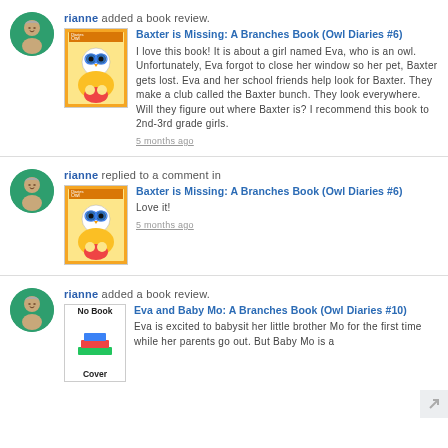rianne added a book review.
Baxter is Missing: A Branches Book (Owl Diaries #6)
I love this book! It is about a girl named Eva, who is an owl. Unfortunately, Eva forgot to close her window so her pet, Baxter gets lost. Eva and her school friends help look for Baxter. They make a club called the Baxter bunch. They look everywhere. Will they figure out where Baxter is? I recommend this book to 2nd-3rd grade girls.
5 months ago
rianne replied to a comment in
Baxter is Missing: A Branches Book (Owl Diaries #6)
Love it!
5 months ago
rianne added a book review.
Eva and Baby Mo: A Branches Book (Owl Diaries #10)
Eva is excited to babysit her little brother Mo for the first time while her parents go out. But Baby Mo is a